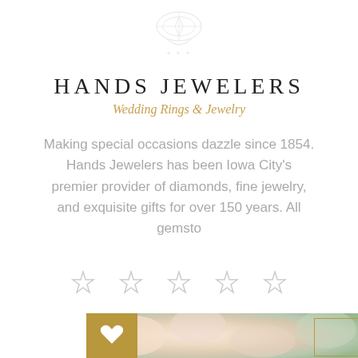[Figure (logo): Hands Jewelers decorative logo/crest at top of page, faint gray]
HANDS JEWELERS
Wedding Rings & Jewelry
Making special occasions dazzle since 1854. Hands Jewelers has been Iowa City's premier provider of diamonds, fine jewelry, and exquisite gifts for over 150 years. All gemsto
[Figure (infographic): Five empty star rating icons in a row, light gray outline stars]
[Figure (photo): Close-up photo of a diamond ring resting among white/cream roses, with a gold square heart badge in upper left corner and a gold outlined rectangle in the lower right corner]